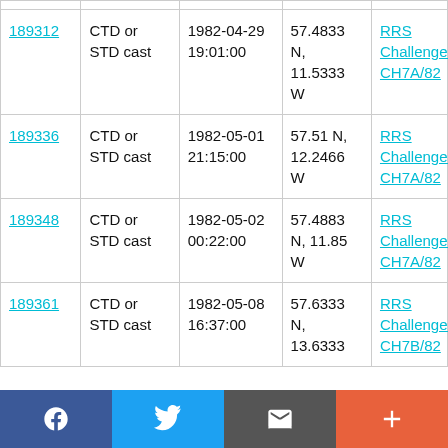| ID | Type | Date/Time | Coordinates | Cruise |
| --- | --- | --- | --- | --- |
| 189312 | CTD or STD cast | 1982-04-29 19:01:00 | 57.4833 N, 11.5333 W | RRS Challenger CH7A/82 |
| 189336 | CTD or STD cast | 1982-05-01 21:15:00 | 57.51 N, 12.2466 W | RRS Challenger CH7A/82 |
| 189348 | CTD or STD cast | 1982-05-02 00:22:00 | 57.4883 N, 11.85 W | RRS Challenger CH7A/82 |
| 189361 | CTD or STD cast | 1982-05-08 16:37:00 | 57.6333 N, 13.6333 | RRS Challenger CH7B/82 |
Social share bar: Facebook, Twitter, Email, Add